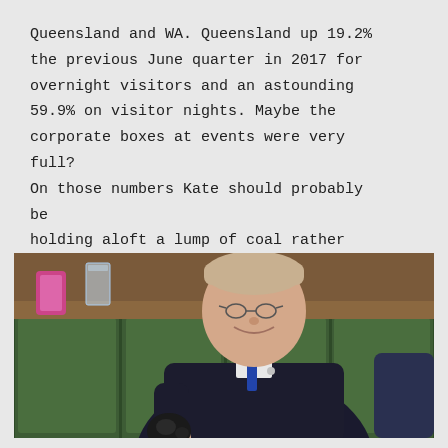Queensland and WA. Queensland up 19.2% the previous June quarter in 2017 for overnight visitors and an astounding 59.9% on visitor nights. Maybe the corporate boxes at events were very full? On those numbers Kate should probably be holding aloft a lump of coal rather than her events calendar.
[Figure (photo): A man in a dark suit and blue tie seated in what appears to be a parliamentary chamber with green leather seats, smiling and holding a lump of coal in his left hand. A pink phone and glass of water are visible on a desk in the background.]